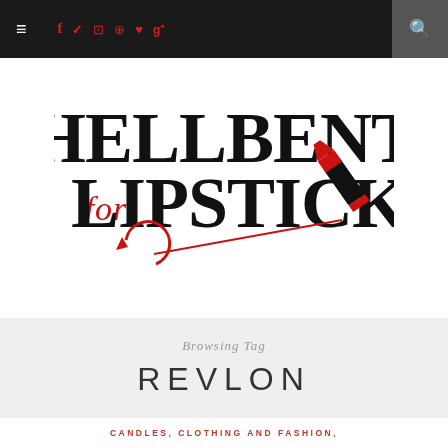Navigation bar with hamburger menu, social icons (f, twitter, instagram, pinterest, heart, g+), and search icon
[Figure (logo): Hellbent for Lipstick blog logo — large serif black text 'HELLBENT' on top line, red script 'for' and large serif black 'LIPSTICK' on second line, with a red and black lipstick illustration and a red curved arrow beneath]
Browsing Tag
REVLON
CANDLES, CLOTHING AND FASHION,